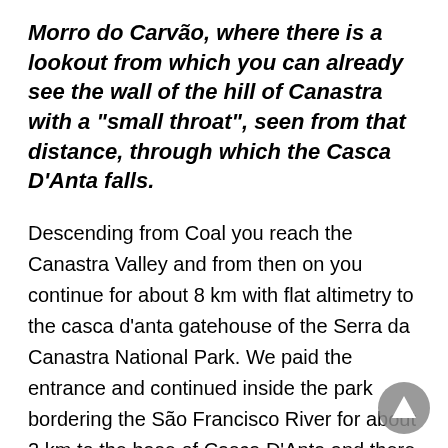Morro do Carvão, where there is a lookout from which you can already see the wall of the hill of Canastra with a "small throat", seen from that distance, through which the Casca D'Anta falls.
Descending from Coal you reach the Canastra Valley and from then on you continue for about 8 km with flat altimetry to the casca d'anta gatehouse of the Serra da Canastra National Park. We paid the entrance and continued inside the park bordering the São Francisco River for about 2 km to the base of Casca D'Anta and there we were amazed and stupefying enjoying such magnificent work of nature. A splendid fall of the water with